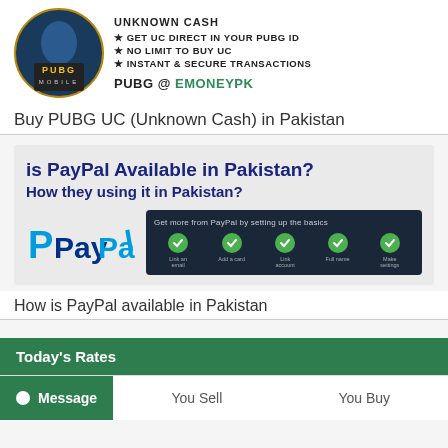[Figure (illustration): PUBG Mobile promotional banner with circular game logo, star bullet points listing UC purchase benefits, and PUBG @ EMONEYPK branding]
Buy PUBG UC (Unknown Cash) in Pakistan
[Figure (illustration): PayPal availability in Pakistan promotional card with title 'is PayPal Available in Pakistan? How they using it in Pakistan?', PayPal logo, and a dark setup panel showing green checkmark steps]
How is PayPal available in Pakistan
Today's Rates
Message   You Sell   You Buy